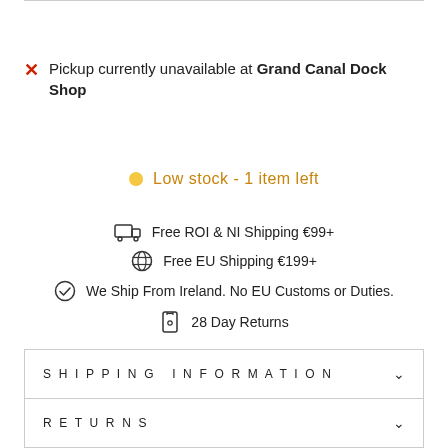Pickup currently unavailable at Grand Canal Dock Shop
Low stock - 1 item left
Free ROI & NI Shipping €99+
Free EU Shipping €199+
We Ship From Ireland. No EU Customs or Duties.
28 Day Returns
SHIPPING INFORMATION
RETURNS